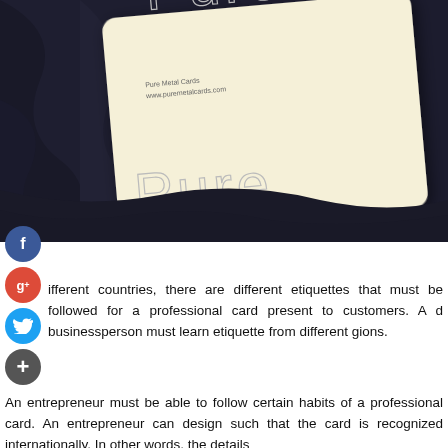[Figure (photo): A cream/beige colored business card with 'Pure Metal Cards' branding and website www.puremetalcards.com, showing outline text of the word 'Pure', placed on dark navy/black draped fabric. The card is photographed at a slight angle.]
ifferent countries, there are different etiquettes that must be followed for a professional card present to customers. A d businessperson must learn etiquette from different gions.
An entrepreneur must be able to follow certain habits of a professional card. An entrepreneur can design such that the card is recognized internationally. In other words, the details